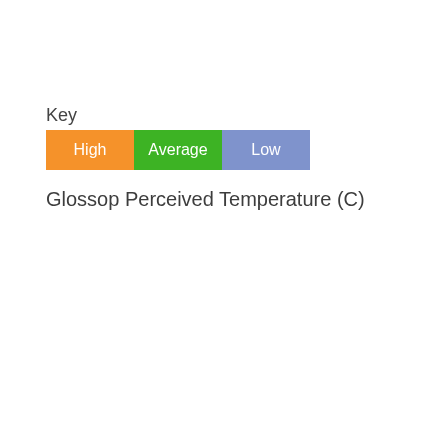Key
[Figure (infographic): Legend with three colored boxes labeled High (orange), Average (green), Low (blue-purple)]
Glossop Perceived Temperature (C)